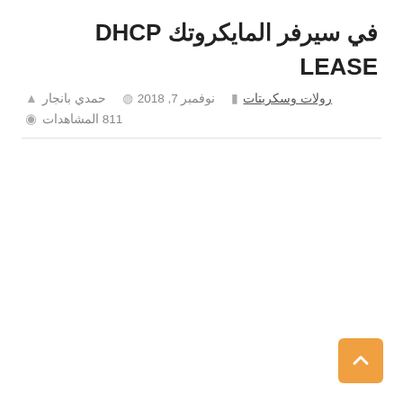DHCP LEASE في سيرفر المايكروتك
حمدي بانجار  نوفمبر 7, 2018  رولات وسكريتات  811 المشاهدات